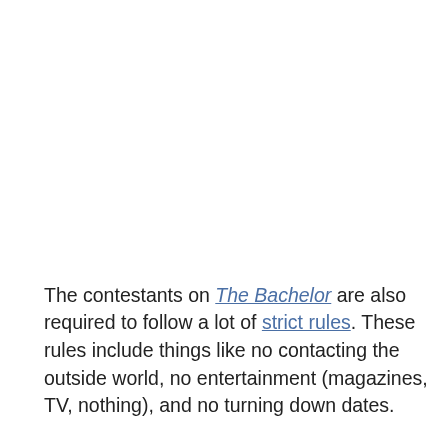The contestants on The Bachelor are also required to follow a lot of strict rules. These rules include things like no contacting the outside world, no entertainment (magazines, TV, nothing), and no turning down dates.